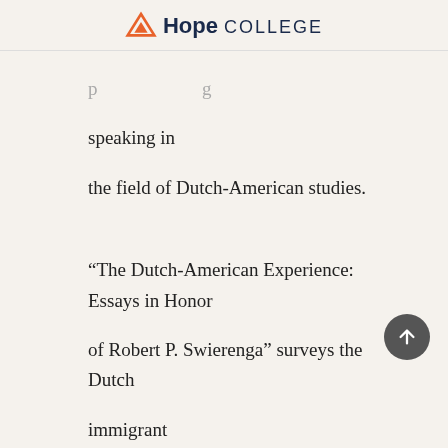Hope College
speaking in the field of Dutch-American studies.
"The Dutch-American Experience: Essays in Honor of Robert P. Swierenga" surveys the Dutch immigrant experience in the past two centuries, presenting four general sections derived from themes found in Swierenga's work: the relationship between worldview and immigration, the journey to the United States, the religious